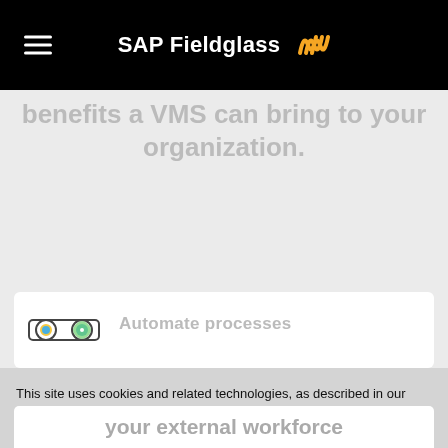SAP Fieldglass
benefits a VMS can bring to your organization.
[Figure (screenshot): Partially visible card with icon and text 'Automate processes']
This site uses cookies and related technologies, as described in our privacy statement, for purposes that may include site operation, analytics, enhanced user experience, or advertising. You may choose to consent to our use of these technologies, or manage your own preferences.
Accept Cookies
More Information
Privacy Policy | Powered by: TrustArc
your external workforce